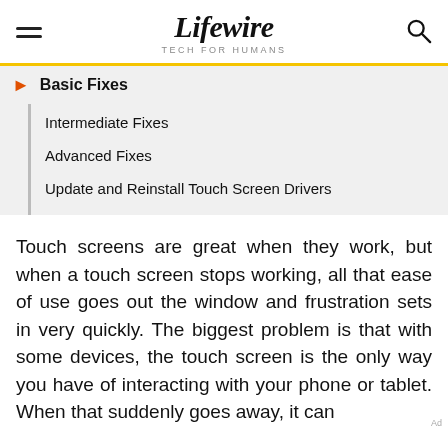Lifewire — TECH FOR HUMANS
Basic Fixes
Intermediate Fixes
Advanced Fixes
Update and Reinstall Touch Screen Drivers
Touch screens are great when they work, but when a touch screen stops working, all that ease of use goes out the window and frustration sets in very quickly. The biggest problem is that with some devices, the touch screen is the only way you have of interacting with your phone or tablet. When that suddenly goes away, it can